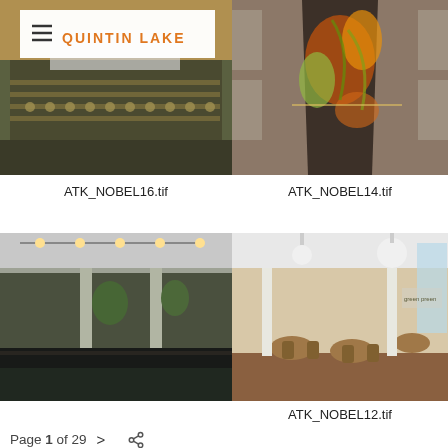[Figure (photo): Interior of a lecture hall or auditorium with rows of wooden chairs facing a screen, warm overhead lighting, viewed from the back. A website header overlay reads QUINTIN LAKE with hamburger menu.]
[Figure (photo): Interior corridor with decorative wall mural of orange and green leaves/flowers, viewed looking down the hall with windows on either side.]
ATK_NOBEL16.tif
ATK_NOBEL14.tif
[Figure (photo): Modern open-plan interior space with high ceilings, track lighting, white columns, and indoor plants. Dark reflective countertop in foreground.]
[Figure (photo): Modern restaurant or cafeteria interior with round tables, chairs, white ceiling, pendant lights, and large windows. Green PREEN PREEN logo on wall.]
ATK_NOBEL12.tif
Page 1 of 29  >  share